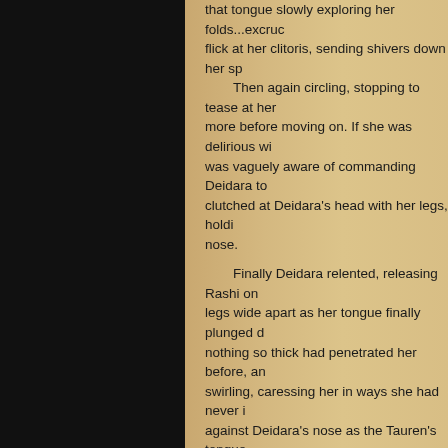that tongue slowly exploring her folds...excruc flick at her clitoris, sending shivers down her sp Then again circling, stopping to tease at her more before moving on. If she was delirious wi was vaguely aware of commanding Deidara to clutched at Deidara's head with her legs, holdi nose. Finally Deidara relented, releasing Rashi on legs wide apart as her tongue finally plunged d nothing so thick had penetrated her before, an swirling, caressing her in ways she had never i against Deidara's nose as the Tauren's tongue She felt her orgasm building like a wave, a t crashed over her. Her hips bucked hard, rough nose; she twisted her nipples roughly as her ba Just as Rashi caught her breath, Deidara's her clitoris. When the Tauren pressed her mou hard as before. Finally, after a last lick that left twitching, Rashi lay sprawled atop the bedcove "You must have had some pent-up energy," holding her close. Rashi tried to respond, but n is..." A long pause. Rashi cuddled up to Deidar breasts. "Right, somehow."